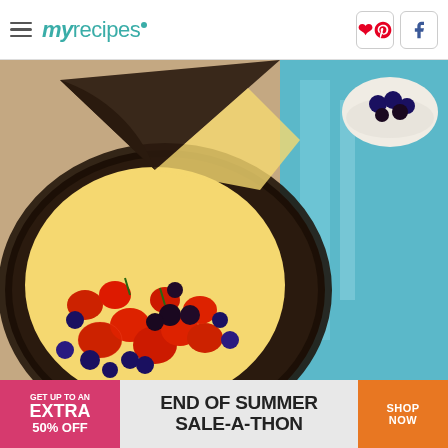myrecipes — Pinterest, Facebook
[Figure (photo): Overhead photo of a berry tart/pie with an Oreo cookie crust, filled with yellow cream and topped with fresh strawberries, blueberries, and blackberries. A slice has been removed. The pie sits on a burlap surface next to a light blue painted wooden background. A small bowl of berries is visible in the upper right corner.]
GET UP TO AN EXTRA 50% OFF  END OF SUMMER SALE-A-THON  SHOP NOW